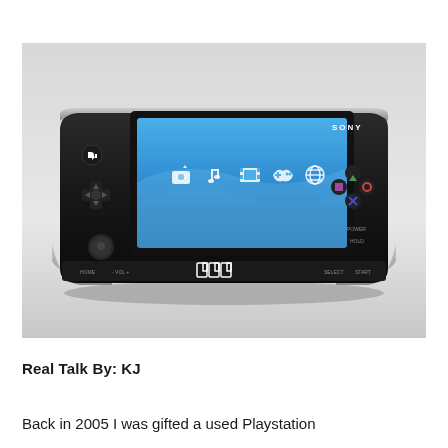[Figure (photo): A Sony PSP (PlayStation Portable) handheld gaming console shown from the front. The device is black with a blue screen displaying the XMB (XrossMediaBar) interface showing icons for photos, music, video, game, and network. The console shows the PSP branding logo at the bottom center, directional pad on the left, face buttons on the right (triangle, square, circle, X), and POWER and HOLD labels on the right side. The background is a light gray gradient.]
Real Talk By: KJ
Back in 2005 I was gifted a used Playstation